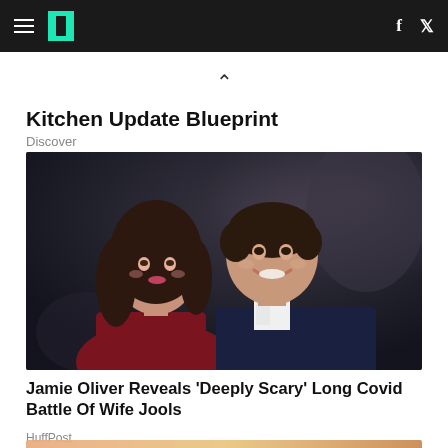HuffPost navigation with hamburger menu, logo, Facebook and Twitter icons
Kitchen Update Blueprint
Discover
[Figure (photo): Photo of a woman with long brown wavy hair and a smiling man in a dark suit and white shirt, photographed at a dark event/premiere background]
Jamie Oliver Reveals 'Deeply Scary' Long Covid Battle Of Wife Jools
HuffPost